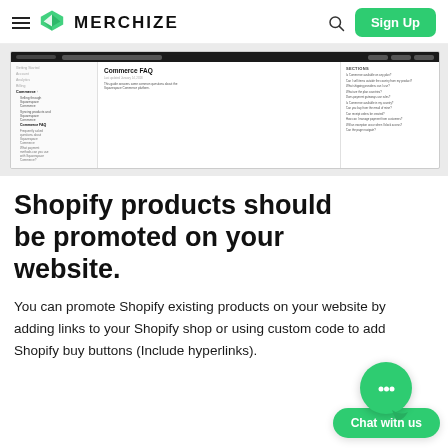Merchize — Sign Up
[Figure (screenshot): Screenshot of Squarespace Commerce FAQ help page showing sidebar navigation with Commerce section expanded, main content area with Commerce FAQ title, and a right-side sections panel listing various FAQ topics.]
Shopify products should be promoted on your website.
You can promote Shopify existing products on your website by adding links to your Shopify shop or using custom code to add Shopify buy buttons (Include hyperlinks).